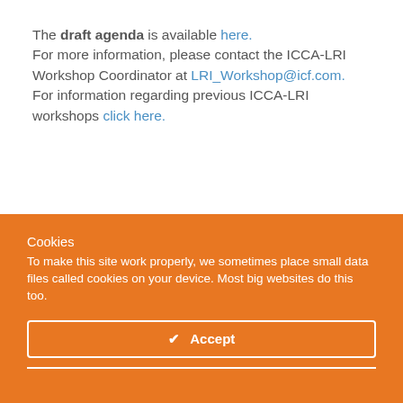The draft agenda is available here.
For more information, please contact the ICCA-LRI Workshop Coordinator at LRI_Workshop@icf.com.
For information regarding previous ICCA-LRI workshops click here.
Cookies
To make this site work properly, we sometimes place small data files called cookies on your device. Most big websites do this too.
✔ Accept